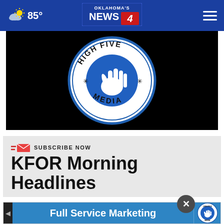85° — Oklahoma's News 4 — navigation bar
[Figure (logo): High Five Media circular logo — white hand on blue circle with text 'HIGH FIVE MEDIA' on black background]
SUBSCRIBE NOW
KFOR Morning Headlines
[Figure (screenshot): Full Service Marketing advertisement banner with High Five Media logo]